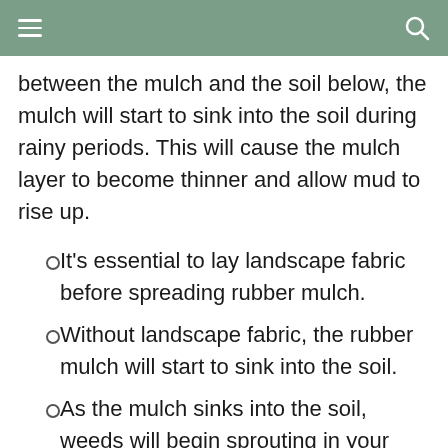between the mulch and the soil below, the mulch will start to sink into the soil during rainy periods. This will cause the mulch layer to become thinner and allow mud to rise up.
It's essential to lay landscape fabric before spreading rubber mulch.
Without landscape fabric, the rubber mulch will start to sink into the soil.
As the mulch sinks into the soil, weeds will begin sprouting in your playground.
If you add a layer of rubber mulch without landscape fabric, it's only a matter of time